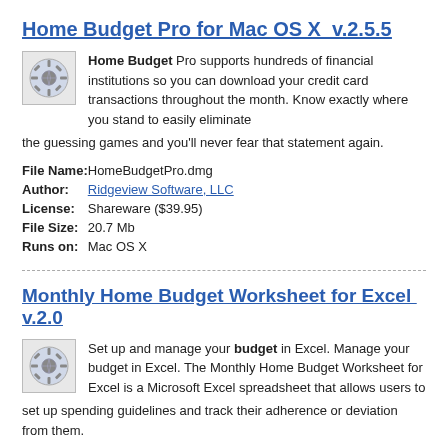Home Budget Pro for Mac OS X  v.2.5.5
Home Budget Pro supports hundreds of financial institutions so you can download your credit card transactions throughout the month. Know exactly where you stand to easily eliminate the guessing games and you'll never fear that statement again.
| File Name: | HomeBudgetPro.dmg |
| Author: | Ridgeview Software, LLC |
| License: | Shareware ($39.95) |
| File Size: | 20.7 Mb |
| Runs on: | Mac OS X |
Monthly Home Budget Worksheet for Excel  v.2.0
Set up and manage your budget in Excel. Manage your budget in Excel. The Monthly Home Budget Worksheet for Excel is a Microsoft Excel spreadsheet that allows users to set up spending guidelines and track their adherence or deviation from them.
| File Name: | Monthly Home Budget |